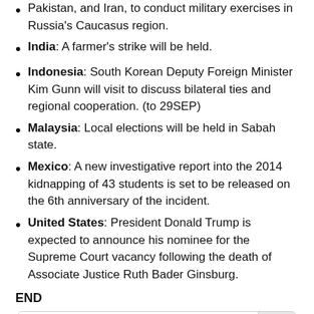Pakistan, and Iran, to conduct military exercises in Russia’s Caucasus region.
India: A farmer’s strike will be held.
Indonesia: South Korean Deputy Foreign Minister Kim Gunn will visit to discuss bilateral ties and regional cooperation. (to 29SEP)
Malaysia: Local elections will be held in Sabah state.
Mexico: A new investigative report into the 2014 kidnapping of 43 students is set to be released on the 6th anniversary of the incident.
United States: President Donald Trump is expected to announce his nominee for the Supreme Court vacancy following the death of Associate Justice Ruth Bader Ginsburg.
END
Search